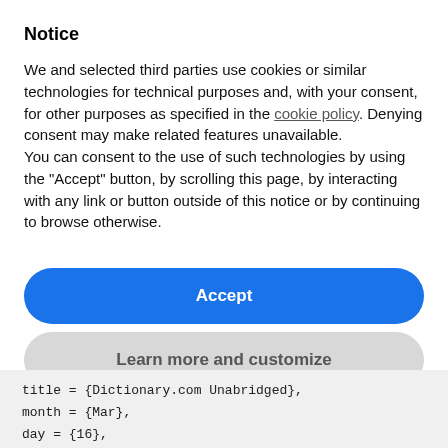Notice
We and selected third parties use cookies or similar technologies for technical purposes and, with your consent, for other purposes as specified in the cookie policy. Denying consent may make related features unavailable.
You can consent to the use of such technologies by using the “Accept” button, by scrolling this page, by interacting with any link or button outside of this notice or by continuing to browse otherwise.
Accept
Learn more and customize
title = {Dictionary.com Unabridged},
month = {Mar},
day = {16},
year = {2013},
url = {http:/dictionary.reference.com/browse/BUNKERS}